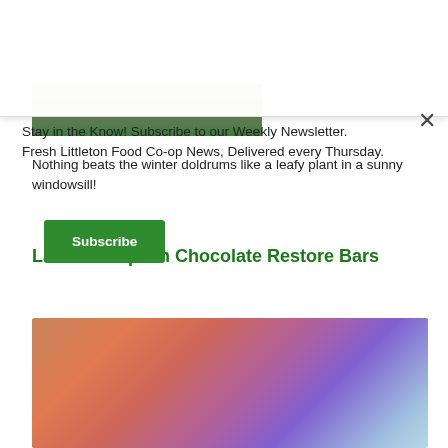[Figure (photo): Bottom portion of a store interior photo showing a floor mat and plant, with a green border at the bottom.]
Nothing beats the winter doldrums like a leafy plant in a sunny windowsill!
Lake Champlain Chocolate Restore Bars
[Figure (photo): Photo of two Lake Champlain Chocolates Restore Bars — one orange-gradient and one purple/blue-gradient — on a wooden surface, each with organic certification seals.]
Stay in the Know! Subscribe to our Weekly Newsletter. Fresh Littleton Food Co-op News, Delivered every Thursday.